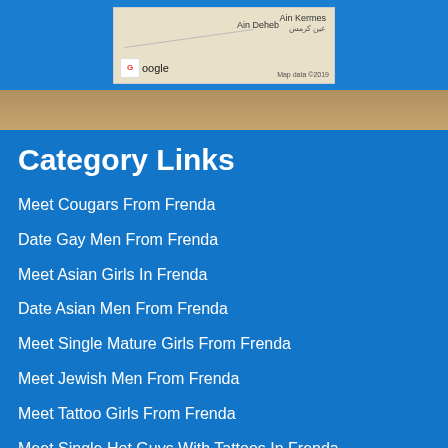[Figure (map): Google Maps widget showing Ain Kermes area with Arabic text عين كرمس, Ain Deheb label, and Google branding with Map data ©2019]
[Figure (photo): Photo strip showing partial images of people]
Category Links
Meet Cougars From Frenda
Date Gay Men From Frenda
Meet Asian Girls In Frenda
Date Asian Men From Frenda
Meet Single Mature Girls From Frenda
Meet Jewish Men From Frenda
Meet Tattoo Girls From Frenda
Meet Single Hot Guys With Tattoos In Frenda